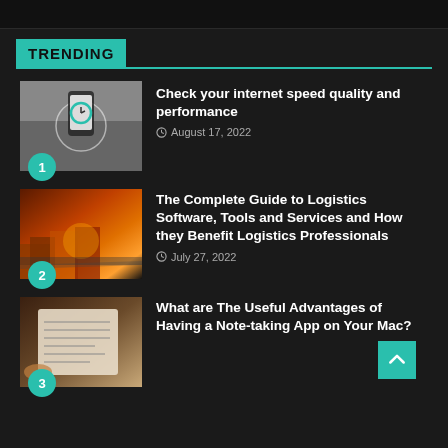TRENDING
[Figure (photo): Person holding a smartphone showing internet speed test app, road in background]
Check your internet speed quality and performance
August 17, 2022
[Figure (photo): Logistics scene with shipping containers and vehicles on road at sunset]
The Complete Guide to Logistics Software, Tools and Services and How they Benefit Logistics Professionals
July 27, 2022
[Figure (photo): Person writing notes on paper beside a tablet or laptop]
What are The Useful Advantages of Having a Note-taking App on Your Mac?